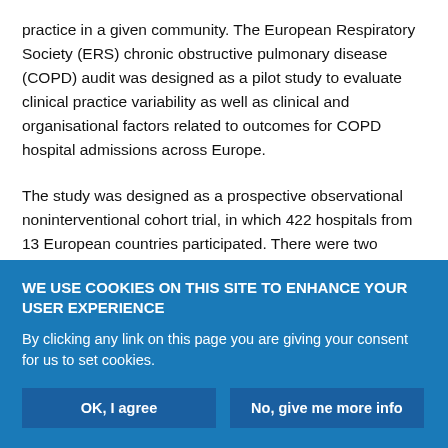practice in a given community. The European Respiratory Society (ERS) chronic obstructive pulmonary disease (COPD) audit was designed as a pilot study to evaluate clinical practice variability as well as clinical and organisational factors related to outcomes for COPD hospital admissions across Europe.
The study was designed as a prospective observational noninterventional cohort trial, in which 422 hospitals from 13 European countries participated. There were two databases: one for hospital's resources and organisation and one for clinical information.
WE USE COOKIES ON THIS SITE TO ENHANCE YOUR USER EXPERIENCE
By clicking any link on this page you are giving your consent for us to set cookies.